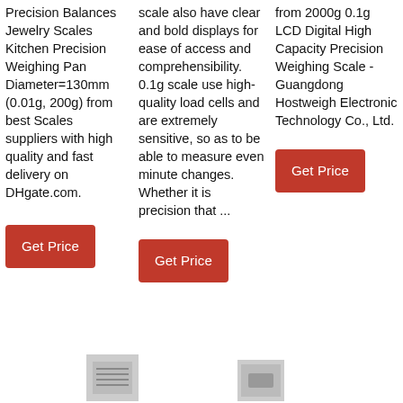Precision Balances Jewelry Scales Kitchen Precision Weighing Pan Diameter=130mm (0.01g, 200g) from best Scales suppliers with high quality and fast delivery on DHgate.com.
Get Price
scale also have clear and bold displays for ease of access and comprehensibility. 0.1g scale use high-quality load cells and are extremely sensitive, so as to be able to measure even minute changes. Whether it is precision that ...
Get Price
from 2000g 0.1g LCD Digital High Capacity Precision Weighing Scale - Guangdong Hostweigh Electronic Technology Co., Ltd.
Get Price
[Figure (photo): Small product image of a scale at bottom left]
[Figure (photo): Small product image of a scale at bottom center]